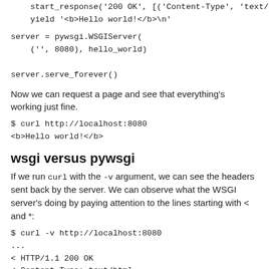start_response('200 OK', [('Content-Type', 'text/html
    yield '<b>Hello world!</b>\n'
server = pywsgi.WSGIServer(
    ('', 8080), hello_world)

server.serve_forever()
Now we can request a page and see that everything's working just fine.
$ curl http://localhost:8080
<b>Hello world!</b>
wsgi versus pywsgi
If we run curl with the -v argument, we can see the headers sent back by the server. We can observe what the WSGI server's doing by paying attention to the lines starting with < and *:
$ curl -v http://localhost:8080
...
< HTTP/1.1 200 OK
< Content-Type: text/html